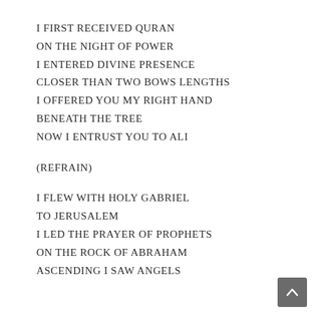I FIRST RECEIVED QURAN
ON THE NIGHT OF POWER
I ENTERED DIVINE PRESENCE
CLOSER THAN TWO BOWS LENGTHS
I OFFERED YOU MY RIGHT HAND
BENEATH THE TREE
NOW I ENTRUST YOU TO ALI

(REFRAIN)

I FLEW WITH HOLY GABRIEL
TO JERUSALEM
I LED THE PRAYER OF PROPHETS
ON THE ROCK OF ABRAHAM
ASCENDING I SAW ANGELS